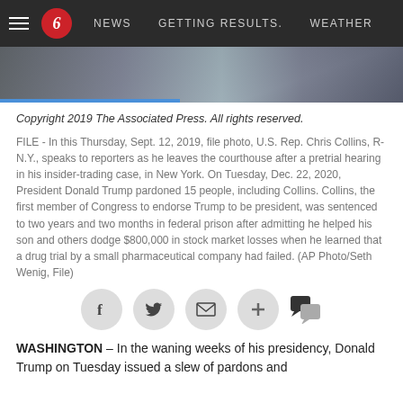NEWS  GETTING RESULTS.  WEATHER
[Figure (photo): Partial photo strip showing people, cropped at top of page]
Copyright 2019 The Associated Press. All rights reserved.
FILE - In this Thursday, Sept. 12, 2019, file photo, U.S. Rep. Chris Collins, R-N.Y., speaks to reporters as he leaves the courthouse after a pretrial hearing in his insider-trading case, in New York. On Tuesday, Dec. 22, 2020, President Donald Trump pardoned 15 people, including Collins. Collins, the first member of Congress to endorse Trump to be president, was sentenced to two years and two months in federal prison after admitting he helped his son and others dodge $800,000 in stock market losses when he learned that a drug trial by a small pharmaceutical company had failed. (AP Photo/Seth Wenig, File)
[Figure (other): Social sharing buttons: Facebook, Twitter, Email, Plus, Comment]
WASHINGTON – In the waning weeks of his presidency, Donald Trump on Tuesday issued a slew of pardons and